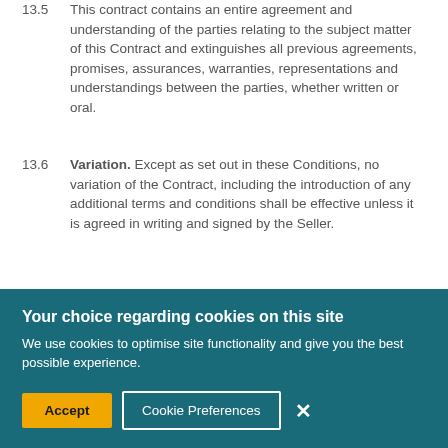13.5      This contract contains an entire agreement and understanding of the parties relating to the subject matter of this Contract and extinguishes all previous agreements, promises, assurances, warranties, representations and understandings between the parties, whether written or oral.
13.6      Variation. Except as set out in these Conditions, no variation of the Contract, including the introduction of any additional terms and conditions shall be effective unless it is agreed in writing and signed by the Seller.
13.7      Governing law. This contract...
Your choice regarding cookies on this site
We use cookies to optimise site functionality and give you the best possible experience.